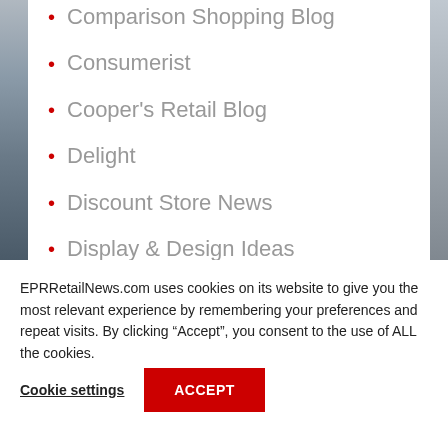Comparison Shopping Blog
Consumerist
Cooper's Retail Blog
Delight
Discount Store News
Display & Design Ideas
EPR Food & Beverage News
EPR Retail News @ Feedburner
EPRRetailNews.com uses cookies on its website to give you the most relevant experience by remembering your preferences and repeat visits. By clicking “Accept”, you consent to the use of ALL the cookies.
Cookie settings
ACCEPT